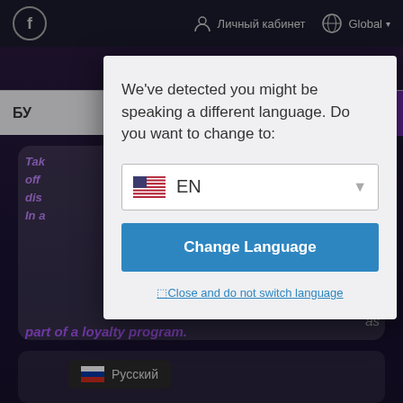[Figure (screenshot): Website navigation bar with Facebook icon, 'Личный кабинет' account link, globe icon and 'Global' dropdown]
БУ
[Figure (screenshot): Background page showing partial text about loyalty program in purple italic font, with a Russian language badge at bottom]
We've detected you might be speaking a different language. Do you want to change to:
[Figure (other): Language selector dropdown showing US flag and 'EN' with dropdown arrow]
Change Language
⬚Close and do not switch language
Русский